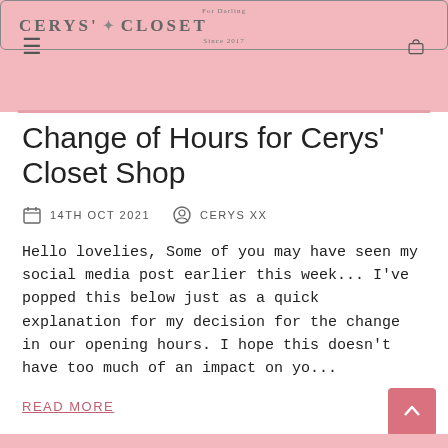Cerys' Closet
Change of Hours for Cerys' Closet Shop
14TH OCT 2021   CERYS XX
Hello lovelies, Some of you may have seen my social media post earlier this week... I've popped this below just as a quick explanation for my decision for the change in our opening hours. I hope this doesn't have too much of an impact on yo...
READ MORE